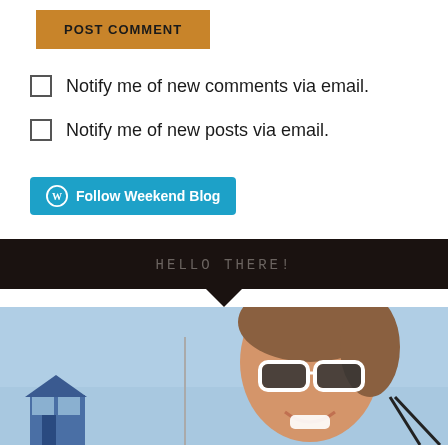POST COMMENT
Notify me of new comments via email.
Notify me of new posts via email.
Follow Weekend Blog
HELLO THERE!
[Figure (photo): A smiling woman wearing white-framed sunglasses at a beach, with a blue sky and buildings visible in the background.]